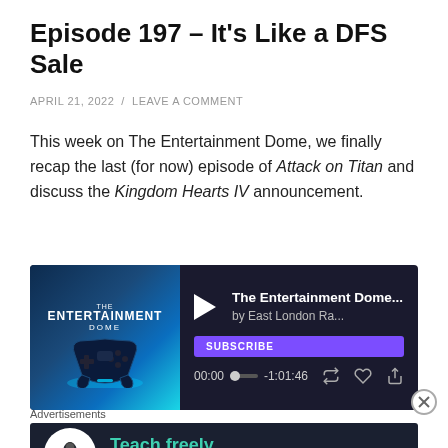Episode 197 – It's Like a DFS Sale
APRIL 21, 2022 / LEAVE A COMMENT
This week on The Entertainment Dome, we finally recap the last (for now) episode of Attack on Titan and discuss the Kingdom Hearts IV announcement.
[Figure (other): Podcast player widget for The Entertainment Dome by East London Ra... showing play button, subscribe button, time 00:00 / -1:01:46 with playback controls]
[Figure (other): Close/dismiss button (circled X)]
Advertisements
[Figure (other): Advertisement banner with dark background showing a person icon and text: Teach freely - Make money selling online courses.]